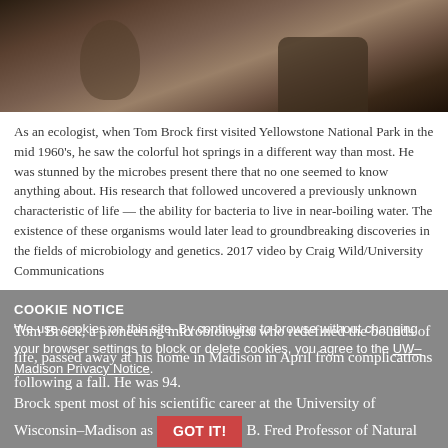[Figure (photo): A historical photo showing a person near rocks at what appears to be Yellowstone National Park hot springs area, dark and brownish tones]
As an ecologist, when Tom Brock first visited Yellowstone National Park in the mid 1960's, he saw the colorful hot springs in a different way than most. He was stunned by the microbes present there that no one seemed to know anything about. His research that followed uncovered a previously unknown characteristic of life — the ability for bacteria to live in near-boiling water. The existence of these organisms would later lead to groundbreaking discoveries in the fields of microbiology and genetics. 2017 video by Craig Wild/University Communications
COOKIE NOTICE
We use cookies on this site. By continuing to browse without changing your browser settings to block or delete cookies, you agree to the UW–Madison Privacy Notice.
Tom Brock, a pioneering microbiologist who redefined the bounds of life, passed away at his home in Madison in April from complications following a fall. He was 94.
Brock spent most of his scientific career at the University of Wisconsin–Madison as the E.B. Fred Professor of Natural Sciences in the Department of Bacteriology. He